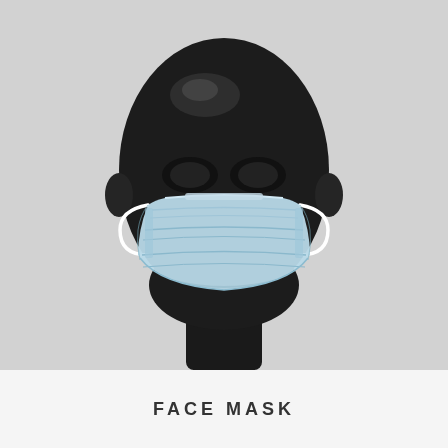[Figure (photo): A black glossy mannequin head wearing a light blue disposable surgical/medical face mask with ear loops, shown from the front against a light grey background.]
FACE MASK